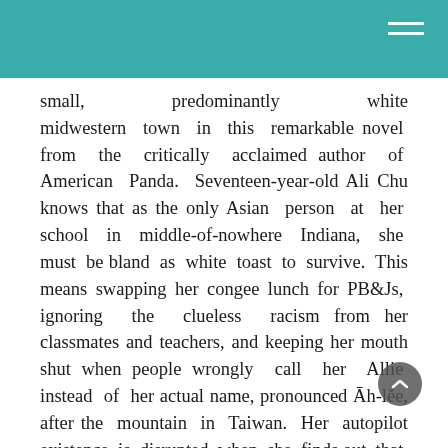small, predominantly white midwestern town in this remarkable novel from the critically acclaimed author of American Panda. Seventeen-year-old Ali Chu knows that as the only Asian person at her school in middle-of-nowhere Indiana, she must be bland as white toast to survive. This means swapping her congee lunch for PB&Js, ignoring the clueless racism from her classmates and teachers, and keeping her mouth shut when people wrongly call her Allie instead of her actual name, pronounced Āh-lěe, after the mountain in Taiwan. Her autopilot existence is disrupted when she finds out that Chase Yu, the new kid in